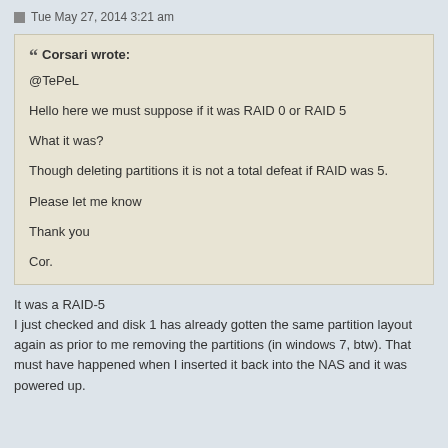Tue May 27, 2014 3:21 am
Corsari wrote:
@TePeL

Hello here we must suppose if it was RAID 0 or RAID 5

What it was?

Though deleting partitions it is not a total defeat if RAID was 5.

Please let me know

Thank you

Cor.
It was a RAID-5
I just checked and disk 1 has already gotten the same partition layout again as prior to me removing the partitions (in windows 7, btw). That must have happened when I inserted it back into the NAS and it was powered up.